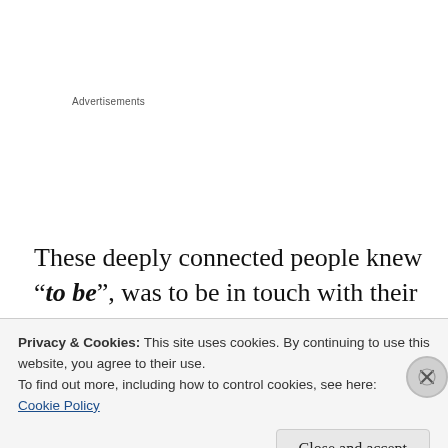Advertisements
These deeply connected people knew “to be”, was to be in touch with their natural environment, sharing electrons and
Privacy & Cookies: This site uses cookies. By continuing to use this website, you agree to their use.
To find out more, including how to control cookies, see here:
Cookie Policy
Close and accept